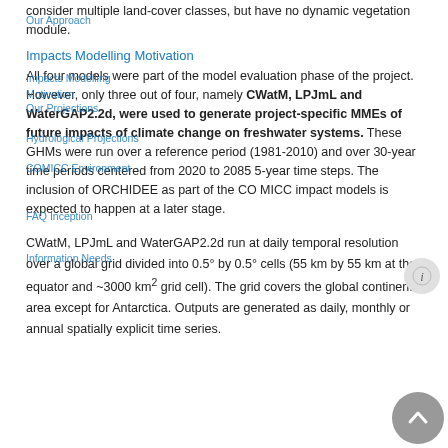consider multiple land-cover classes, but have no dynamic vegetation module.
Impacts Modelling Motivation
All four models were part of the model evaluation phase of the project. However, only three out of four, namely CWatM, LPJmL and WaterGAP2.2d, were used to generate project-specific MMEs of future impacts of climate change on freshwater systems. These GHMs were run over a reference period (1981-2010) and over 30-year time periods centered from 2020 to 2085 5-year time steps. The inclusion of ORCHIDEE as part of the CO MICC impact models is expected to happen at a later stage.
CWatM, LPJmL and WaterGAP2.2d run at daily temporal resolution over a global grid divided into 0.5° by 0.5° cells (55 km by 55 km at the equator and ~3000 km² grid cell). The grid covers the global continental area except for Antarctica. Outputs are generated as daily, monthly or annual spatially explicit time series.